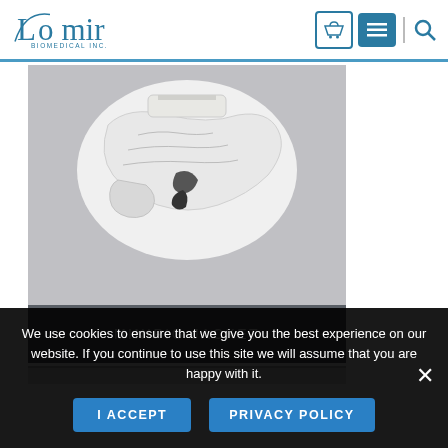[Figure (logo): Lomir Biomedical Inc. logo with navigation icons (basket, menu, search)]
[Figure (photo): Product photo of a Minipig Jacket medical device on gray background]
MINIPIG JACKET
We use cookies to ensure that we give you the best experience on our website. If you continue to use this site we will assume that you are happy with it.
I ACCEPT
PRIVACY POLICY